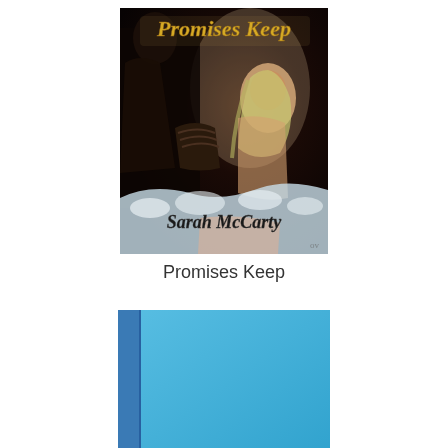[Figure (photo): Book cover for 'Promises Keep' by Sarah McCarty. Dark romantic cover featuring a woman with light hair and a shadowy figure. Title 'Promises Keep' in gold/brown italic script at top, author name 'Sarah McCarty' in dark italic script at bottom, against a moody dark background.]
Promises Keep
[Figure (photo): Partial view of a second book cover with a solid bright blue/turquoise background, cropped at the bottom of the page. A darker blue spine is visible on the left side.]